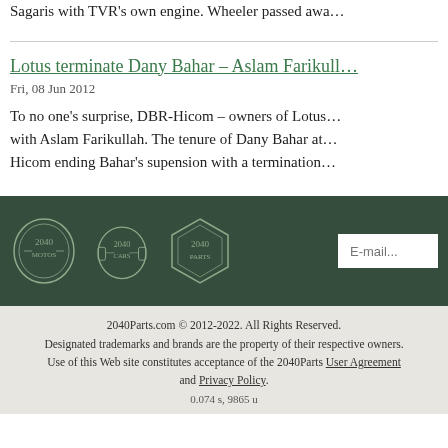Sagaris with TVR's own engine. Wheeler passed awa…
Lotus terminate Dany Bahar – Aslam Farikull…
Fri, 08 Jun 2012
To no one's surprise, DBR-Hicom – owners of Lotus… with Aslam Farikullah. The tenure of Dany Bahar at… Hicom ending Bahar's supension with a termination…
[Figure (logo): 2040 Motos, 2040 Cars, and 2040 Parts logos in white on dark green footer bar, with an email input field]
2040Parts.com © 2012-2022. All Rights Reserved. Designated trademarks and brands are the property of their respective owners. Use of this Web site constitutes acceptance of the 2040Parts User Agreement and Privacy Policy. 0.074 s, 9865 u